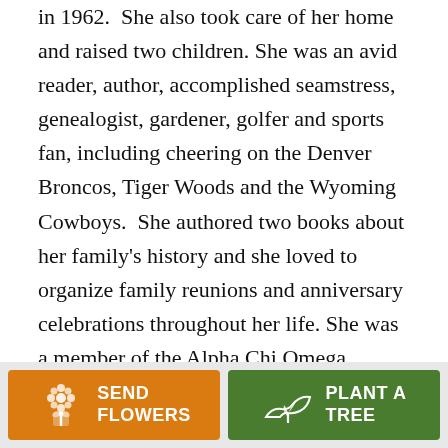in 1962.  She also took care of her home and raised two children. She was an avid reader, author, accomplished seamstress, genealogist, gardener, golfer and sports fan, including cheering on the Denver Broncos, Tiger Woods and the Wyoming Cowboys.  She authored two books about her family's history and she loved to organize family reunions and anniversary celebrations throughout her life. She was a member of the Alpha Chi Omega sorority for 74 years. Her other interests included travel where she visited Scotland, Australia, Alaska and the Olympics. Vivian was a gentle, quiet genius and would occasionally
[Figure (other): Two call-to-action buttons at the bottom: 'SEND FLOWERS' (orange with bouquet icon) and 'PLANT A TREE' (green with seedling icon)]